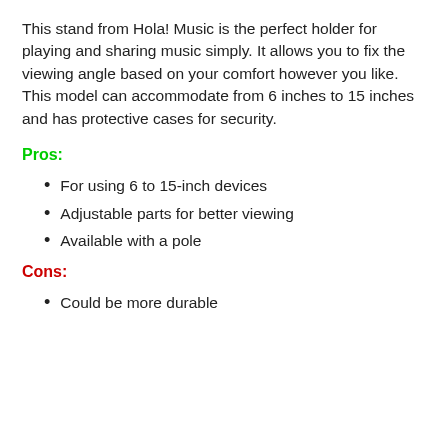This stand from Hola! Music is the perfect holder for playing and sharing music simply. It allows you to fix the viewing angle based on your comfort however you like. This model can accommodate from 6 inches to 15 inches and has protective cases for security.
Pros:
For using 6 to 15-inch devices
Adjustable parts for better viewing
Available with a pole
Cons:
Could be more durable